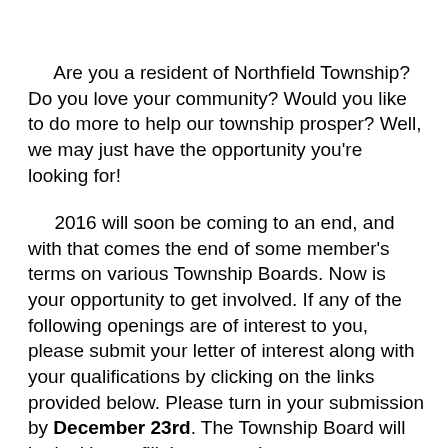Are you a resident of Northfield Township? Do you love your community? Would you like to do more to help our township prosper? Well, we may just have the opportunity you're looking for!
2016 will soon be coming to an end, and with that comes the end of some member's terms on various Township Boards. Now is your opportunity to get involved. If any of the following openings are of interest to you, please submit your letter of interest along with your qualifications by clicking on the links provided below. Please turn in your submission by December 23rd. The Township Board will be looking to fill these openings at an upcoming board meeting. In addition to the committee openings, the